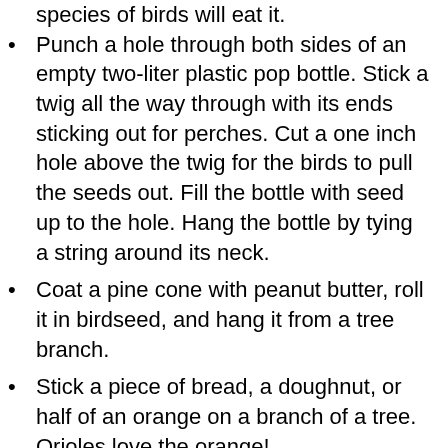species of birds will eat it.
Punch a hole through both sides of an empty two-liter plastic pop bottle. Stick a twig all the way through with its ends sticking out for perches. Cut a one inch hole above the twig for the birds to pull the seeds out. Fill the bottle with seed up to the hole. Hang the bottle by tying a string around its neck.
Coat a pine cone with peanut butter, roll it in birdseed, and hang it from a tree branch.
Stick a piece of bread, a doughnut, or half of an orange on a branch of a tree. Orioles love the orange!
The simplest method is to scatter bird seed or bread crumbs on the ground.